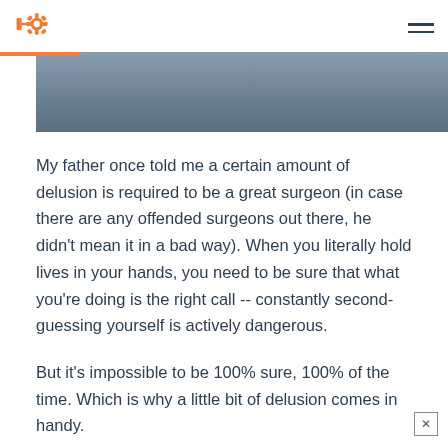HubSpot logo and navigation menu
[Figure (photo): Top portion of a photo showing a grey stone or concrete architectural background, partially obscured]
My father once told me a certain amount of delusion is required to be a great surgeon (in case there are any offended surgeons out there, he didn't mean it in a bad way). When you literally hold lives in your hands, you need to be sure that what you're doing is the right call -- constantly second-guessing yourself is actively dangerous.
But it's impossible to be 100% sure, 100% of the time. Which is why a little bit of delusion comes in handy.
Sales — and for that matter, any customer-facing role - is k